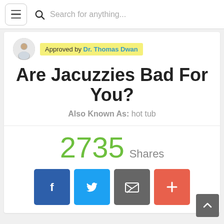Search for anything...
Approved by Dr. Thomas Dwan
Are Jacuzzies Bad For You?
Also Known As: hot tub
2735 Shares